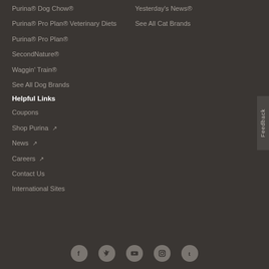Purina® Dog Chow®
Purina® Pro Plan® Veterinary Diets
Purina® Pro Plan®
SecondNature®
Waggin' Train®
See All Dog Brands
Helpful Links
Coupons
Shop Purina ↗
News ↗
Careers ↗
Contact Us
International Sites
Yesterday's News®
See All Cat Brands
[Figure (infographic): Social media icons row: Facebook, Twitter, YouTube, Instagram, Tumblr]